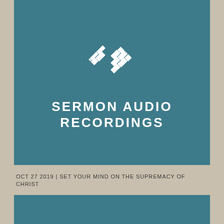[Figure (logo): Sermon Audio Recordings logo: geometric woven pattern in white on teal background with text SERMON AUDIO RECORDINGS]
OCT 27 2019 | SET YOUR MIND ON THE SUPREMACY OF CHRIST
[Figure (logo): Sermon Audio Recordings logo repeated: geometric woven/crown pattern in white on teal background with text SERMON AUDIO RECORDINGS]